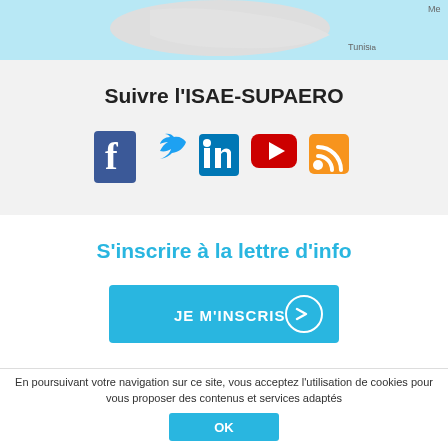[Figure (map): Partial map showing Mediterranean region with Tunisia label and partial text 'Me' visible at top right]
Suivre l'ISAE-SUPAERO
[Figure (infographic): Social media icons: Facebook (blue f), Twitter (blue bird), LinkedIn (blue in), YouTube (red play button), RSS (orange feed icon)]
S'inscrire à la lettre d'info
[Figure (infographic): Blue button labeled 'JE M'INSCRIS' with a circular arrow icon]
L'ISAE-SUPAERO certifié par :
[Figure (logo): Certification logos: CTi, afaq ISO 9001, Conférence des Grandes Écoles, EUR-ACE]
En poursuivant votre navigation sur ce site, vous acceptez l'utilisation de cookies pour vous proposer des contenus et services adaptés
[Figure (infographic): Blue OK button for cookie consent]